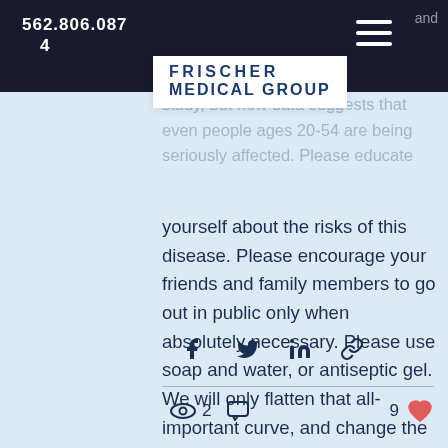562.806.0874
[Figure (logo): Frischer Medical Group logo with text FRISCHER MEDICAL GROUP in bold dark blue letters on white background]
study, but new data suggests that even people ages 20-54 are being seriously affected. Please educate yourself about the risks of this disease. Please encourage your friends and family members to go out in public only when absolutely necessary. Please use soap and water, or antiseptic gel. We will only flatten that all-important curve, and change the course of this pandemic, with our individual efforts!
[Figure (infographic): Social share icons: Facebook, Twitter, LinkedIn, link/chain icon]
2 views, comment icon, 9 likes